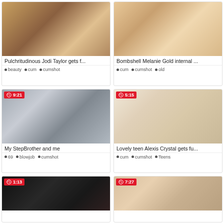[Figure (screenshot): Video thumbnail - Pulchritudinous Jodi Taylor gets f...]
Pulchritudinous Jodi Taylor gets f...
beauty • cum • cumshot
[Figure (screenshot): Video thumbnail - Bombshell Melanie Gold internal ...]
Bombshell Melanie Gold internal ...
cum • cumshot • old
[Figure (screenshot): Video thumbnail 9:21 - My StepBrother and me]
My StepBrother and me
69 • blowjob • cumshot
[Figure (screenshot): Video thumbnail 5:15 - Lovely teen Alexis Crystal gets fu...]
Lovely teen Alexis Crystal gets fu...
cum • cumshot • Teens
[Figure (screenshot): Video thumbnail 1:13 - partial view]
[Figure (screenshot): Video thumbnail 7:27 - partial view]